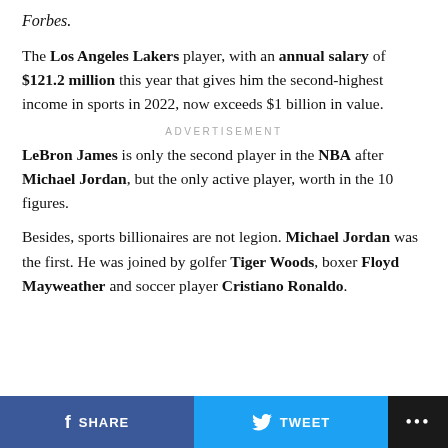Forbes.
The Los Angeles Lakers player, with an annual salary of $121.2 million this year that gives him the second-highest income in sports in 2022, now exceeds $1 billion in value.
ADVERTISEMENT
LeBron James is only the second player in the NBA after Michael Jordan, but the only active player, worth in the 10 figures.
Besides, sports billionaires are not legion. Michael Jordan was the first. He was joined by golfer Tiger Woods, boxer Floyd Mayweather and soccer player Cristiano Ronaldo.
SHARE  TWEET  ...